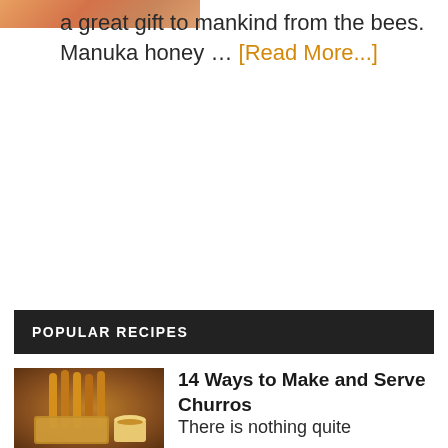[Figure (photo): Partial image of food/honey at the top of the page]
a great gift to mankind from the bees. Manuka honey … [Read More...]
POPULAR RECIPES
[Figure (photo): Photo of churros in a wicker basket with dipping sauce]
14 Ways to Make and Serve Churros
There is nothing quite